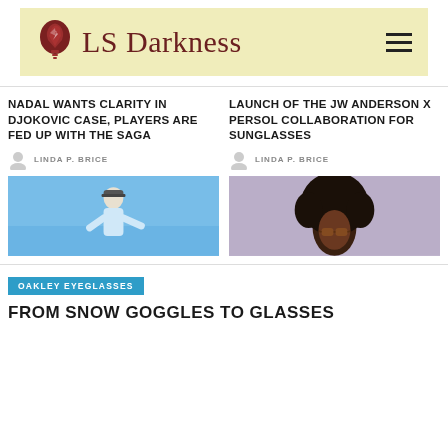[Figure (logo): LS Darkness logo with a dark red cracked lightbulb icon and 'LS Darkness' text in serif font on a yellow-beige banner background, with a hamburger menu icon on the right]
NADAL WANTS CLARITY IN DJOKOVIC CASE, PLAYERS ARE FED UP WITH THE SAGA
LINDA P. BRICE
[Figure (photo): Tennis player in white shirt on blue court background]
LAUNCH OF THE JW ANDERSON X PERSOL COLLABORATION FOR SUNGLASSES
LINDA P. BRICE
[Figure (photo): Fashion model with afro hair wearing sunglasses on lavender background]
OAKLEY EYEGLASSES
FROM SNOW GOGGLES TO GLASSES